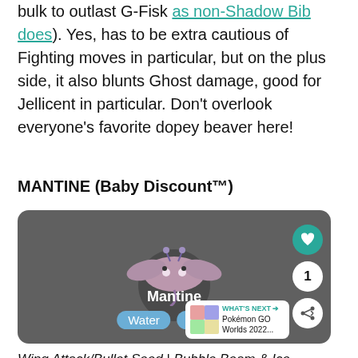bulk to outlast G-Fisk as non-Shadow Bib does). Yes, has to be extra cautious of Fighting moves in particular, but on the plus side, it also blunts Ghost damage, good for Jellicent in particular. Don't overlook everyone's favorite dopey beaver here!
MANTINE (Baby Discount™)
[Figure (screenshot): Pokémon GO game screenshot showing Mantine with Water and Flying type badges, heart/count/share UI buttons, and a What's Next panel for Pokémon GO Worlds 2022]
Wing Attack/Bullet Seed | Bubble Beam & Ice